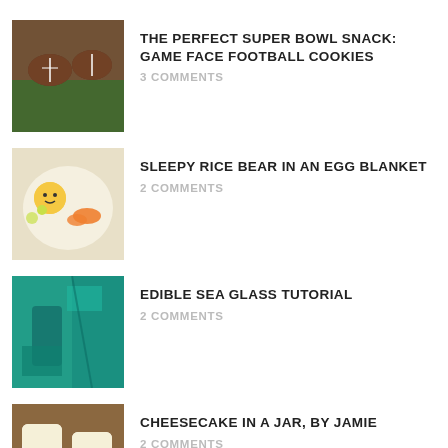THE PERFECT SUPER BOWL SNACK: GAME FACE FOOTBALL COOKIES
3 COMMENTS
SLEEPY RICE BEAR IN AN EGG BLANKET
2 COMMENTS
EDIBLE SEA GLASS TUTORIAL
2 COMMENTS
CHEESECAKE IN A JAR, BY JAMIE
2 COMMENTS
CLEMENTINE THYME MARGARITA BY THE RECIPE WENCH
2 COMMENTS